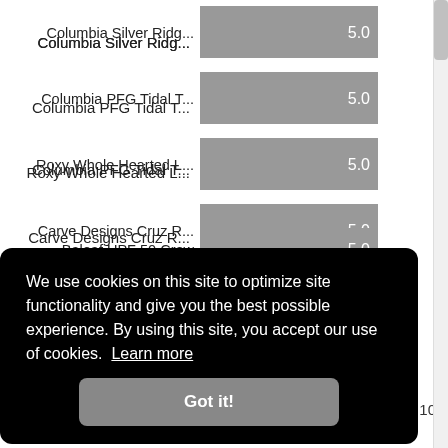[Figure (bar-chart): Top rated products (partial view)]
We use cookies on this site to optimize site functionality and give you the best possible experience. By using this site, you accept our use of cookies. Learn more